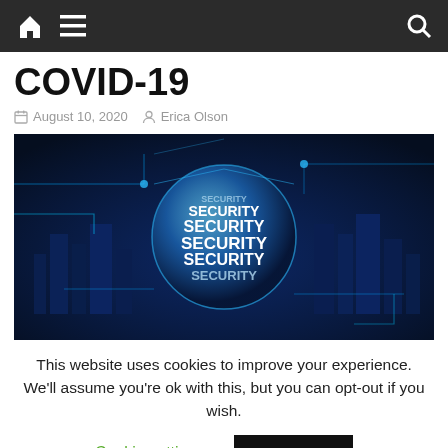Navigation bar with home, menu, and search icons
COVID-19
August 10, 2020  Erica Olson
[Figure (photo): Dark blue digital security concept image showing a glowing sphere with the word SECURITY repeated in large white letters, set against a nighttime city skyline with circuit-board style lines overlaid]
This website uses cookies to improve your experience. We'll assume you're ok with this, but you can opt-out if you wish.
Cookie settings   ACCEPT